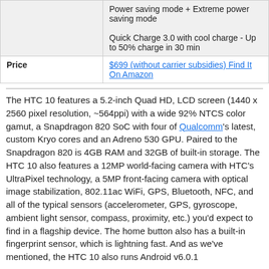|  | Power saving mode + Extreme power saving mode
Quick Charge 3.0 with cool charge - Up to 50% charge in 30 min |
| Price | $699 (without carrier subsidies) Find It On Amazon |
The HTC 10 features a 5.2-inch Quad HD, LCD screen (1440 x 2560 pixel resolution, ~564ppi) with a wide 92% NTCS color gamut, a Snapdragon 820 SoC with four of Qualcomm's latest, custom Kryo cores and an Adreno 530 GPU. Paired to the Snapdragon 820 is 4GB RAM and 32GB of built-in storage. The HTC 10 also features a 12MP world-facing camera with HTC's UltraPixel technology, a 5MP front-facing camera with optical image stabilization, 802.11ac WiFi, GPS, Bluetooth, NFC, and all of the typical sensors (accelerometer, GPS, gyroscope, ambient light sensor, compass, proximity, etc.) you'd expect to find in a flagship device. The home button also has a built-in fingerprint sensor, which is lightning fast. And as we've mentioned, the HTC 10 also runs Android v6.0.1